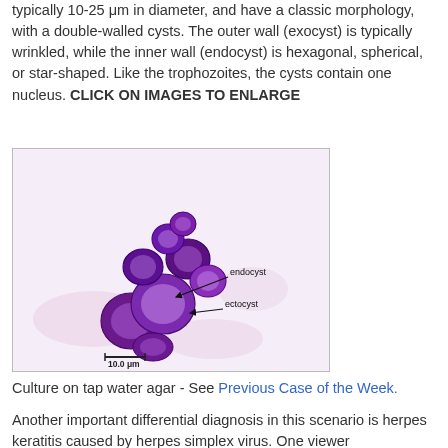typically 10-25 μm in diameter, and have a classic morphology, with a double-walled cysts. The outer wall (exocyst) is typically wrinkled, while the inner wall (endocyst) is hexagonal, spherical, or star-shaped. Like the trophozoites, the cysts contain one nucleus. CLICK ON IMAGES TO ENLARGE
[Figure (photo): Microscopy image showing clusters of cysts (Acanthamoeba) stained purple, with arrows labeling 'endocyst' and 'ectocyst'. Scale bar shows 10.0 μm.]
Culture on tap water agar - See Previous Case of the Week.
Another important differential diagnosis in this scenario is herpes keratitis caused by herpes simplex virus. One viewer